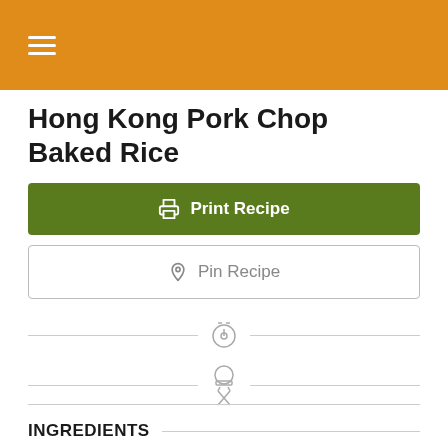☰ (hamburger menu icon)
Hong Kong Pork Chop Baked Rice
[Figure (other): Green Print Recipe button with printer icon]
[Figure (other): White Pin Recipe button with Pinterest icon]
[Figure (other): Recipe metadata icons section with two rows of icons (timer/servings, chef hat/utensils) flanked by horizontal lines]
INGREDIENTS
Pork Chops
6 pieces Pork loin / chops